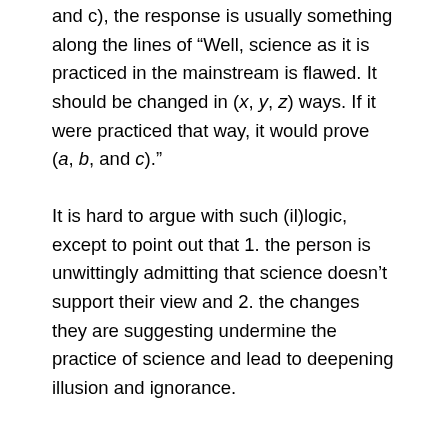and c), the response is usually something along the lines of "Well, science as it is practiced in the mainstream is flawed. It should be changed in (x, y, z) ways. If it were practiced that way, it would prove (a, b, and c)."
It is hard to argue with such (il)logic, except to point out that 1. the person is unwittingly admitting that science doesn’t support their view and 2. the changes they are suggesting undermine the practice of science and lead to deepening illusion and ignorance.
This is on my mind for two reasons. First, CNN online recently published an article on the